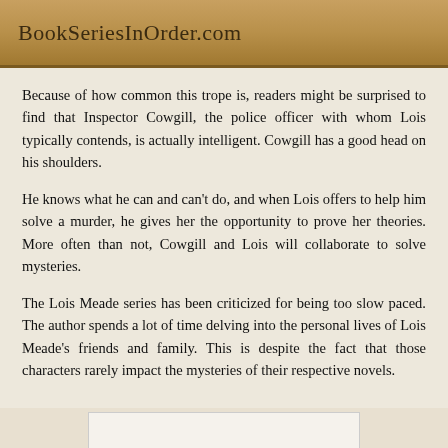BookSeriesInOrder.com
Because of how common this trope is, readers might be surprised to find that Inspector Cowgill, the police officer with whom Lois typically contends, is actually intelligent. Cowgill has a good head on his shoulders.
He knows what he can and can't do, and when Lois offers to help him solve a murder, he gives her the opportunity to prove her theories. More often than not, Cowgill and Lois will collaborate to solve mysteries.
The Lois Meade series has been criticized for being too slow paced. The author spends a lot of time delving into the personal lives of Lois Meade's friends and family. This is despite the fact that those characters rarely impact the mysteries of their respective novels.
[Figure (other): White rectangular image placeholder area]